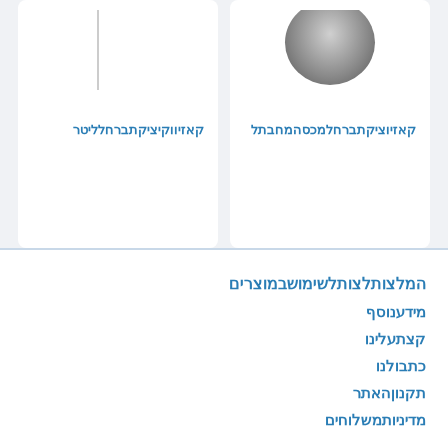[Figure (photo): Product card showing a dark circular object (left card) with Hebrew product title]
קאזיוציקתברחלמכסהמחבתל
[Figure (photo): Product card (right) with a vertical line graphic and Hebrew product title]
קאזיווקיציקתברחלליטר
המלצותלצותלשימושבמוצרים
מידענוסף
קצתעלינו
כתבולנו
תקנוןהאתר
מדיניותמשלוחים